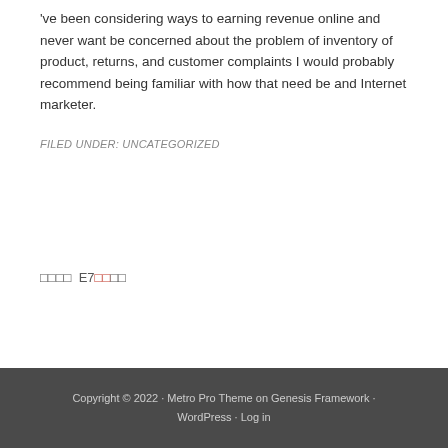've been considering ways to earning revenue online and never want be concerned about the problem of inventory of product, returns, and customer complaints I would probably recommend being familiar with how that need be and Internet marketer.
FILED UNDER: UNCATEGORIZED
□□□□  E7□□□□
Copyright © 2022 · Metro Pro Theme on Genesis Framework · WordPress · Log in